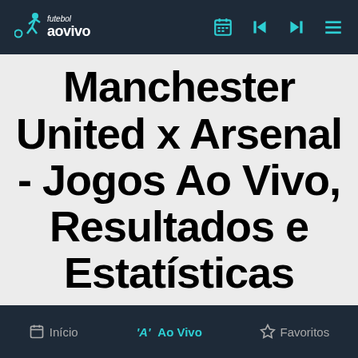futebol ao vivo
Manchester United x Arsenal - Jogos Ao Vivo, Resultados e Estatísticas
Início  Ao Vivo  Favoritos